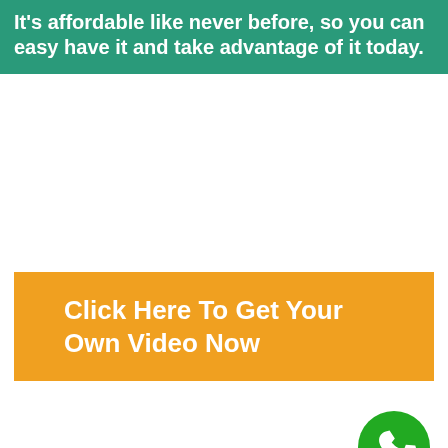It's affordable like never before, so you can easy have it and take advantage of it today.
Click Here To Get Your Own Video Now
[Figure (illustration): Green circular phone call button icon with white phone handset symbol]